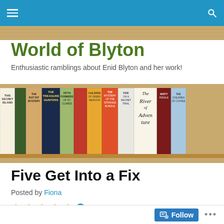World of Blyton – navigation bar
World of Blyton
Enthusiastic ramblings about Enid Blyton and her work!
[Figure (photo): A row of Enid Blyton books on a shelf, showing spines of titles including The Secret Island, The Rat-a-Tat Mystery, The Treasure Hunters, Fifth Formers of St Clare's, Children of Green Meadow, The Mystery of the Strange Bundle, Five on a Secret Trail, The River of Adventure, and others.]
Five Get Into a Fix
Posted by Fiona
3 Votes
Follow